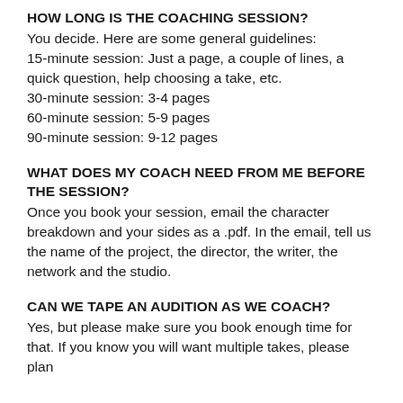HOW LONG IS THE COACHING SESSION?
You decide. Here are some general guidelines:
15-minute session: Just a page, a couple of lines, a quick question, help choosing a take, etc.
30-minute session: 3-4 pages
60-minute session: 5-9 pages
90-minute session: 9-12 pages
WHAT DOES MY COACH NEED FROM ME BEFORE THE SESSION?
Once you book your session, email the character breakdown and your sides as a .pdf. In the email, tell us the name of the project, the director, the writer, the network and the studio.
CAN WE TAPE AN AUDITION AS WE COACH?
Yes, but please make sure you book enough time for that. If you know you will want multiple takes, please plan